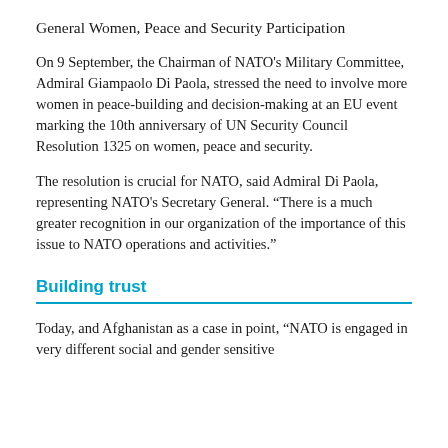General Women, Peace and Security Participation
On 9 September, the Chairman of NATO's Military Committee, Admiral Giampaolo Di Paola, stressed the need to involve more women in peace-building and decision-making at an EU event marking the 10th anniversary of UN Security Council Resolution 1325 on women, peace and security.
The resolution is crucial for NATO, said Admiral Di Paola, representing NATO's Secretary General. “There is a much greater recognition in our organization of the importance of this issue to NATO operations and activities.”
Building trust
Today, and Afghanistan as a case in point, “NATO is engaged in very different social and gender sensitive